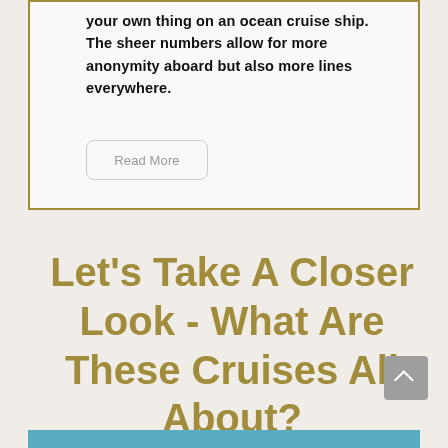your own thing on an ocean cruise ship. The sheer numbers allow for more anonymity aboard but also more lines everywhere.
Read More
Let's Take A Closer Look - What Are These Cruises All About?